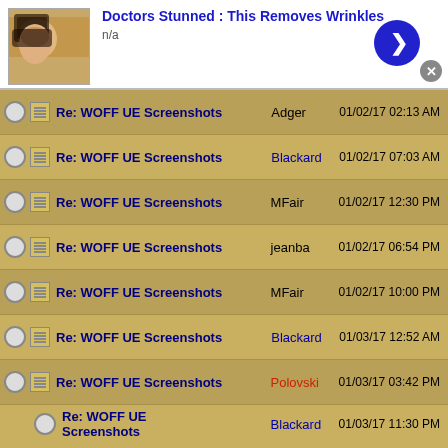[Figure (screenshot): Advertisement banner: 'Doctors Stunned : This Removes Wrinkles' with thumbnail image of woman, n/a subtext, blue arrow button, and close X button]
| Select | Icon | Subject | Author | Date |
| --- | --- | --- | --- | --- |
| ○ | ☰ | Re: WOFF UE Screenshots | Adger | 01/02/17 02:13 AM |
| ○ | ☰ | Re: WOFF UE Screenshots | Blackard | 01/02/17 07:03 AM |
| ○ | ☰ | Re: WOFF UE Screenshots | MFair | 01/02/17 12:30 PM |
| ○ | ☰ | Re: WOFF UE Screenshots | jeanba | 01/02/17 06:54 PM |
| ○ | ☰ | Re: WOFF UE Screenshots | MFair | 01/02/17 10:00 PM |
| ○ | ☰ | Re: WOFF UE Screenshots | Blackard | 01/03/17 12:52 AM |
| ○ | ☰ | Re: WOFF UE Screenshots | Polovski | 01/03/17 03:42 PM |
| ○ |  | Re: WOFF UE Screenshots | Blackard | 01/03/17 11:30 PM |
| ○ | ☰ | Re: WOFF UE Screenshots | OvStachel | 01/03/17 04:26 PM |
[Figure (screenshot): Advertisement banner (bottom): 'Doctors Stunned : This Removes Wrinkles' with thumbnail image of woman, n/a subtext, blue arrow button, and close X button]